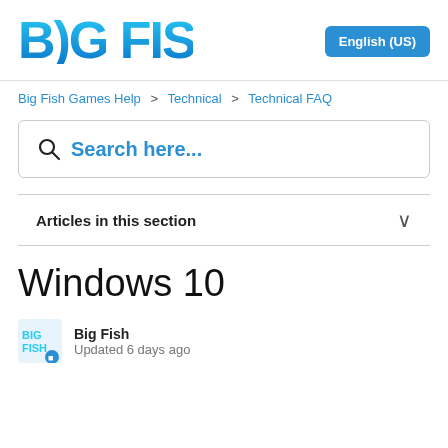BIG FISH | English (US)
Big Fish Games Help > Technical > Technical FAQ
Search here...
Articles in this section
Windows 10
Big Fish
Updated 6 days ago